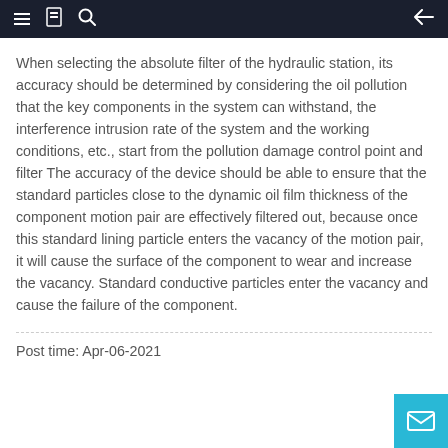Navigation bar with menu, bookmark, search icons and back arrow
When selecting the absolute filter of the hydraulic station, its accuracy should be determined by considering the oil pollution that the key components in the system can withstand, the interference intrusion rate of the system and the working conditions, etc., start from the pollution damage control point and filter The accuracy of the device should be able to ensure that the standard particles close to the dynamic oil film thickness of the component motion pair are effectively filtered out, because once this standard lining particle enters the vacancy of the motion pair, it will cause the surface of the component to wear and increase the vacancy. Standard conductive particles enter the vacancy and cause the failure of the component.
Post time: Apr-06-2021